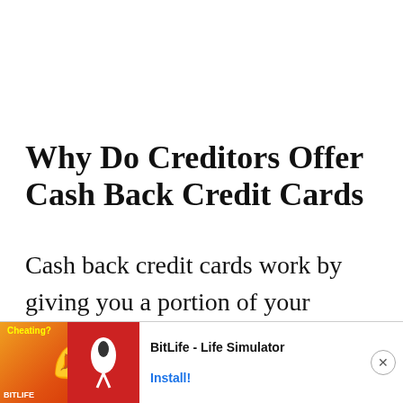Why Do Creditors Offer Cash Back Credit Cards
Cash back credit cards work by giving you a portion of your monthly spending back. Credit card companies offer cash back for several reasons. First, it may help them to lure customers. Customers often choose credit cards based on rewards and other perks, and a cash back credit card may be just the ticket to help a creditor woo a custom...
[Figure (other): Advertisement banner for BitLife - Life Simulator app, showing an ad label, animated muscle/cheating graphic on orange-red background, BitLife sperm logo, app name 'BitLife - Life Simulator', and 'Install!' button]